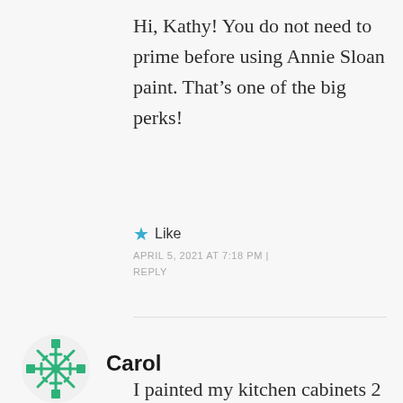Hi, Kathy! You do not need to prime before using Annie Sloan paint. That’s one of the big perks!
★ Like
APRIL 5, 2021 AT 7:18 PM | REPLY
[Figure (illustration): Green snowflake-style avatar icon for user Carol]
Carol
I painted my kitchen cabinets 2 years ago,